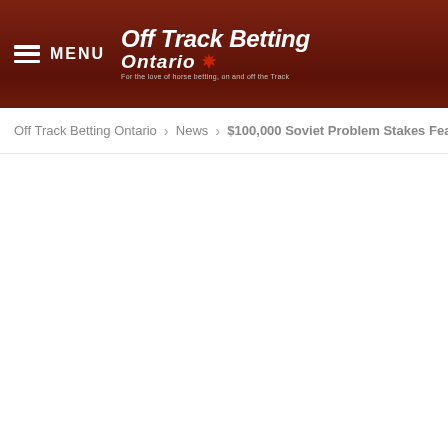MENU  Off Track Betting Ontario — For the love of horse betting, on and off the Track
Off Track Betting Ontario › News › $100,000 Soviet Problem Stakes Features Eight